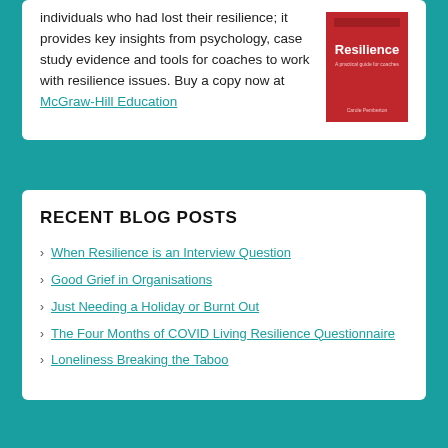individuals who had lost their resilience; it provides key insights from psychology, case study evidence and tools for coaches to work with resilience issues. Buy a copy now at McGraw-Hill Education
[Figure (illustration): Book cover of 'Resilience: A practical guide for coaches' by Carole Pemberton, red cover with white text]
RECENT BLOG POSTS
When Resilience is an Interview Question
Good Grief in Organisations
Just Needing a Holiday or Burnt Out
The Four Months of COVID Living Resilience Questionnaire
Loneliness Breaking the Taboo